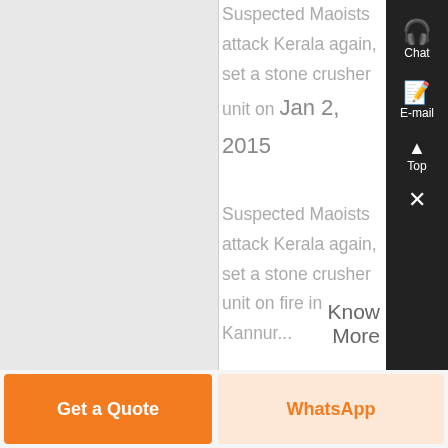Suspected Maoists attack Kerala again, set a stone crusher unit on Jan 2, 2015
Suspected Maoists attack Kerala again, set a stone crusher unit on fire in Kannur...
Know More
Get a Quote
WhatsApp